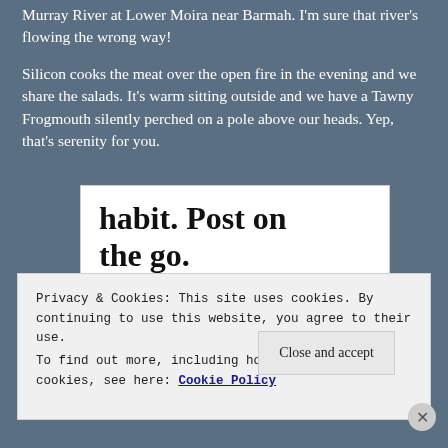Murray River at Lower Moira near Barmah. I'm sure that river's flowing the wrong way!
Silicon cooks the meat over the open fire in the evening and we share the salads. It's warm sitting outside and we have a Tawny Frogmouth silently perched on a pole above our heads. Yep, that's serenity for you.
[Figure (other): WordPress app advertisement showing 'habit. Post on the go.' with GET THE APP call to action and WordPress logo]
Privacy & Cookies: This site uses cookies. By continuing to use this website, you agree to their use.
To find out more, including how to control cookies, see here: Cookie Policy
Close and accept